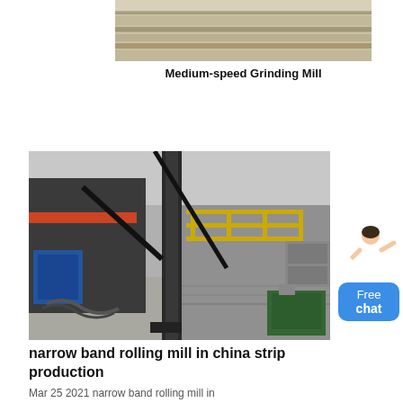[Figure (photo): Top partial view of a medium-speed grinding mill machine showing industrial belt/conveyor area]
Medium-speed Grinding Mill
[Figure (photo): Narrow band rolling mill in a Chinese steel strip production facility, showing heavy industrial machinery, steel columns, hydraulic equipment, and factory floor]
narrow band rolling mill in china strip production
Mar 25 2021  narrow band rolling mill in